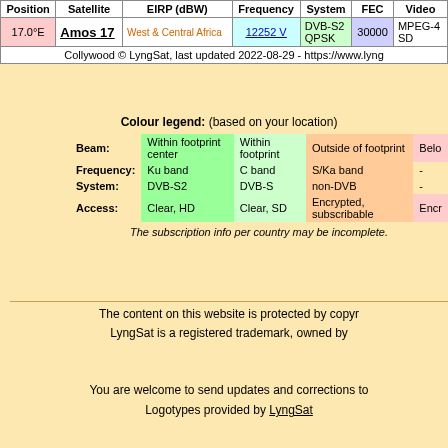| Position | Satellite | EIRP (dBW) | Frequency | System | FEC | Video |
| --- | --- | --- | --- | --- | --- | --- |
| 17.0°E | Amos 17 | West & Central Africa | 12252 V | DVB-S2 QPSK | 30000 | MPEG-4 SD |
|  | Collywood © LyngSat, last updated 2022-08-29 - https://www.lyng |  |  |  |  |  |
Colour legend: (based on your location)
|  | Within footprint center | Within footprint | Outside of footprint | Belo |
| --- | --- | --- | --- | --- |
| Beam: | Within footprint center | Within footprint | Outside of footprint | Belo |
| Frequency: | Ku band | C band | S/Ka band | - |
| System: | DVB-S2 | DVB-S | non-DVB | - |
| Access: | Clear, HD | Clear, SD | Encrypted, subscribable | Encr |
The subscription info per country may be incomplete.
The content on this website is protected by copyr LyngSat is a registered trademark, owned by
You are welcome to send updates and corrections to Logotypes provided by LyngSat